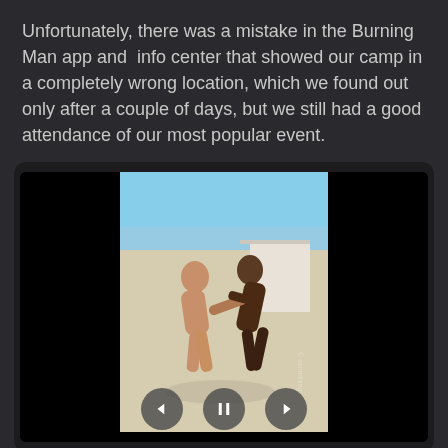Unfortunately, there was a mistake in the Burning Man app and  info center that showed our camp in a completely wrong location, which we found out only after a couple of days, but we still had a good attendance of our most popular event.
[Figure (photo): An outdoor photo showing two people wrestling or grappling at what appears to be Burning Man festival, on a white/sandy surface with a tent structure and blue sky in the background. The image is displayed in a dark rounded-corner media player frame with navigation controls (back, pause, forward) overlaid at the bottom.]